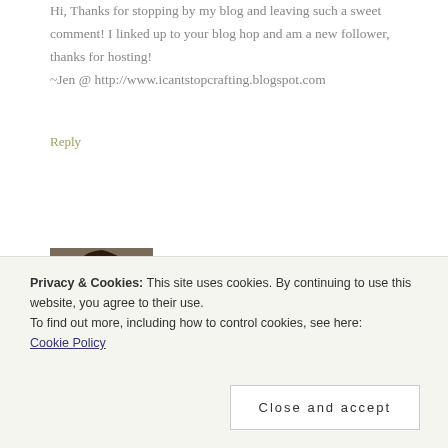Hi, Thanks for stopping by my blog and leaving such a sweet comment! I linked up to your blog hop and am a new follower, thanks for hosting! ~Jen @ http://www.icantstopcrafting.blogspot.com
Reply
[Figure (photo): Avatar photo of a woman with dark hair]
SERENDIPITY IS SWEET says
OCTOBER 20, 2011 AT 7:56 PM
Privacy & Cookies: This site uses cookies. By continuing to use this website, you agree to their use. To find out more, including how to control cookies, see here: Cookie Policy
Close and accept